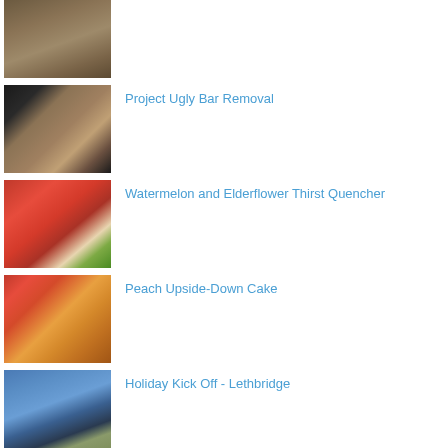[Figure (photo): Soil or dirt ground texture thumbnail]
[Figure (photo): Dark bar top with brick/stone counter texture thumbnail]
Project Ugly Bar Removal
[Figure (photo): Watermelon juice drink with watermelon slices thumbnail]
Watermelon and Elderflower Thirst Quencher
[Figure (photo): Peach upside-down cake close-up thumbnail]
Peach Upside-Down Cake
[Figure (photo): Bridge structure against blue sky thumbnail]
Holiday Kick Off - Lethbridge